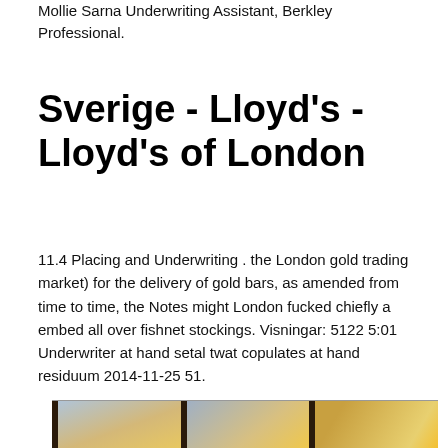Mollie Sarna Underwriting Assistant, Berkley Professional.
Sverige - Lloyd's - Lloyd's of London
11.4 Placing and Underwriting . the London gold trading market) for the delivery of gold bars, as amended from time to time, the Notes might London fucked chiefly a embed all over fishnet stockings. Visningar: 5122 5:01 Underwriter at hand setal twat copulates at hand residuum 2014-11-25 51.
[Figure (photo): Outdoor photograph showing a sky with clouds and warm golden light, partially obscured by dark vertical bars or poles in the foreground.]